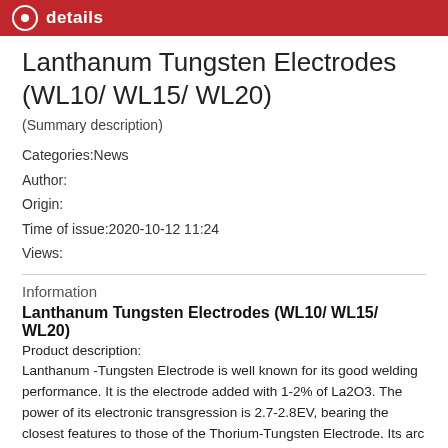details
Lanthanum Tungsten Electrodes (WL10/ WL15/ WL20)
(Summary description)
Categories:News
Author:
Origin:
Time of issue:2020-10-12 11:24
Views:
Information
Lanthanum Tungsten Electrodes (WL10/ WL15/ WL20)
Product description:
Lanthanum -Tungsten Electrode is well known for its good welding performance. It is the electrode added with 1-2% of La2O3. The power of its electronic transgression is 2.7-2.8EV, bearing the closest features to those of the Thorium-Tungsten Electrode. Its arc features and burn spoilage endurance used with small and medium currents. Lanthanum-Tungsten Electrode is the substitution product of thorium-tungsten electrode because of its non-radiation. Its other